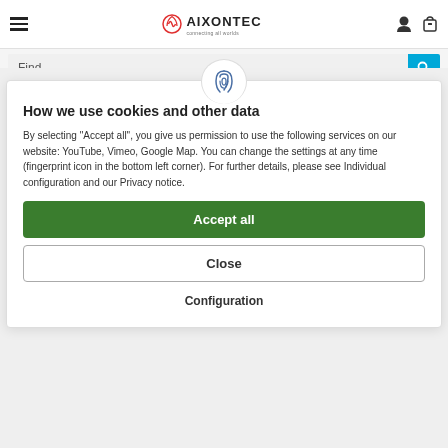AIXONTEC — hamburger menu, logo, user icon, cart icon
Find
< LWL-Pigtails OM3 <
How we use cookies and other data
By selecting "Accept all", you give us permission to use the following services on our website: YouTube, Vimeo, Google Map. You can change the settings at any time (fingerprint icon in the bottom left corner). For further details, please see Individual configuration and our Privacy notice.
Accept all
Close
Configuration